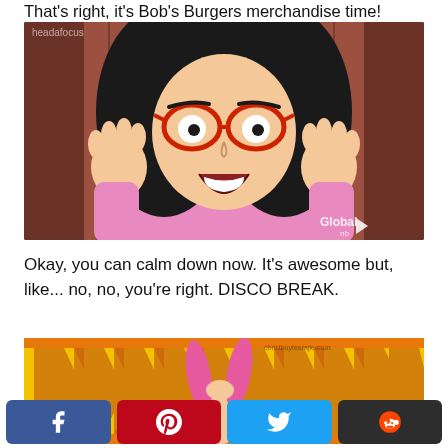That's right, it's Bob's Burgers merchandise time!
[Figure (illustration): Animated character Linda Belcher from Bob's Burgers with red glasses, black hair, and a shocked/excited expression with hands raised beside her face. Global nb watermark in bottom right. headafocus watermark in top left.]
Okay, you can calm down now. It's awesome but, like... no, no, you're right. DISCO BREAK.
[Figure (illustration): Disco-themed animated graphic with orange and yellow chevron/arrow pattern background, with a character's hands raised holding pink bunny ears. christbuytearajkumon watermark in top right.]